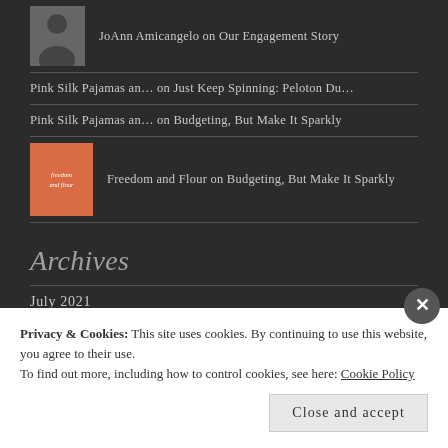JoAnn Amicangelo on Our Engagement Story
Pink Silk Pajamas an… on Just Keep Spinning: Peloton Du…
Pink Silk Pajamas an… on Budgeting, But Make It Sparkly
Freedom and Flour on Budgeting, But Make It Sparkly
Archives
July 2021
Privacy & Cookies: This site uses cookies. By continuing to use this website, you agree to their use.
To find out more, including how to control cookies, see here: Cookie Policy
Close and accept